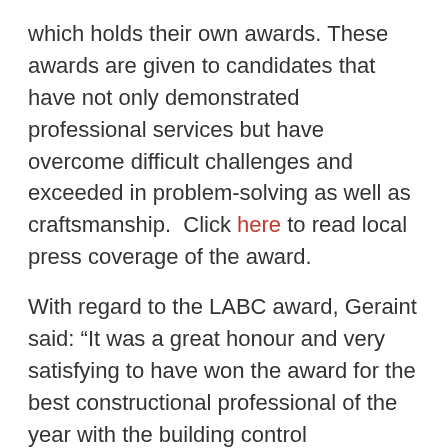which holds their own awards. These awards are given to candidates that have not only demonstrated professional services but have overcome difficult challenges and exceeded in problem-solving as well as craftsmanship.  Click here to read local press coverage of the award.
With regard to the LABC award, Geraint said: “It was a great honour and very satisfying to have won the award for the best constructional professional of the year with the building control department. It’s good to know that clients appreciate the professional services that I provide.”
Geraint’s professional services also earned him the awards “Best Small Commercial Building in